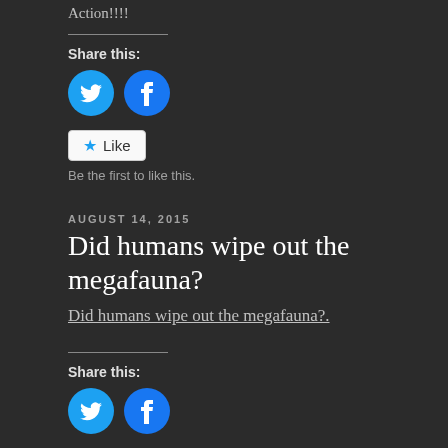Action!!!!
Share this:
[Figure (illustration): Twitter and Facebook social share icon buttons (circles)]
Like
Be the first to like this.
AUGUST 14, 2015
Did humans wipe out the megafauna?
Did humans wipe out the megafauna?.
Share this:
[Figure (illustration): Twitter and Facebook social share icon buttons (circles)]
Like